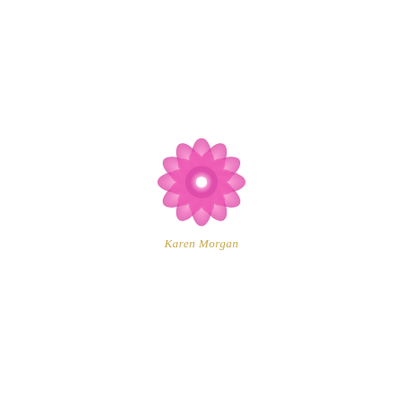[Figure (logo): Pink lotus/mandala flower chakra symbol with a glowing white center, above the cursive text 'Karen Morgan' in gold/yellow italic script]